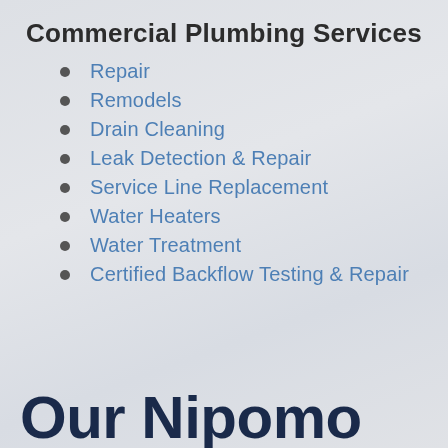Commercial Plumbing Services
Repair
Remodels
Drain Cleaning
Leak Detection & Repair
Service Line Replacement
Water Heaters
Water Treatment
Certified Backflow Testing & Repair
Our Nipomo